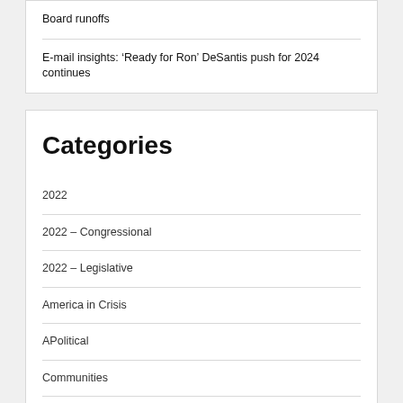Board runoffs
E-mail insights: ‘Ready for Ron’ DeSantis push for 2024 continues
Categories
2022
2022 – Congressional
2022 – Legislative
America in Crisis
APolitical
Communities
Coronavirus
Culture Wars